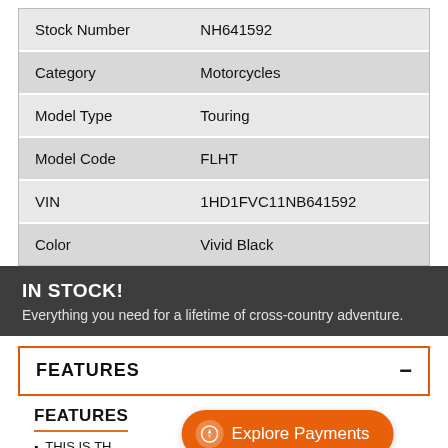|  |  |
| --- | --- |
| Stock Number | NH641592 |
| Category | Motorcycles |
| Model Type | Touring |
| Model Code | FLHT |
| VIN | 1HD1FVC11NB641592 |
| Color | Vivid Black |
IN STOCK!
Everything you need for a lifetime of cross-country adventure.
FEATURES −
FEATURES
THIS IS THE [Explore Payments] seeking a now classic West Coast Style, Affordable long-haul touring